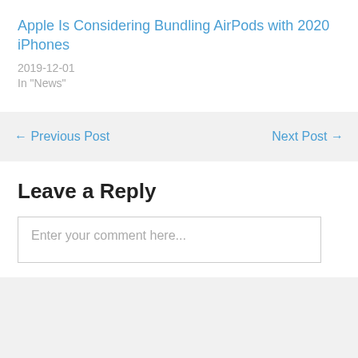Apple Is Considering Bundling AirPods with 2020 iPhones
2019-12-01
In "News"
← Previous Post
Next Post →
Leave a Reply
Enter your comment here...